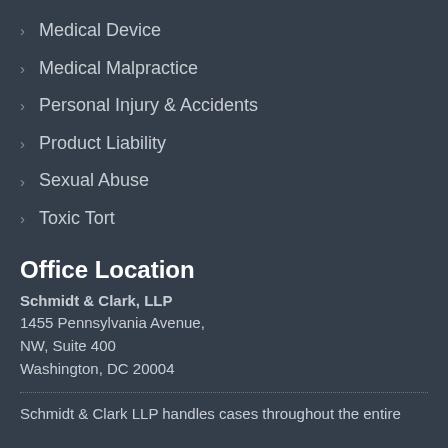Medical Device
Medical Malpractice
Personal Injury & Accidents
Product Liability
Sexual Abuse
Toxic Tort
Office Location
Schmidt & Clark, LLP
1455 Pennsylvania Avenue,
NW, Suite 400
Washington, DC 20004
Schmidt & Clark LLP handles cases throughout the entire